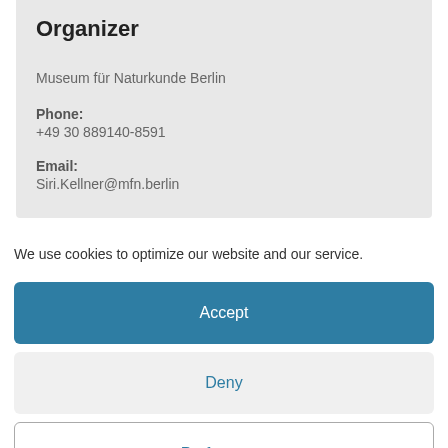Organizer
Museum für Naturkunde Berlin
Phone:
+49 30 889140-8591
Email:
Siri.Kellner@mfn.berlin
We use cookies to optimize our website and our service.
Accept
Deny
Preferences
Cookie Notice   Privacy Policy   Legal Disclosure